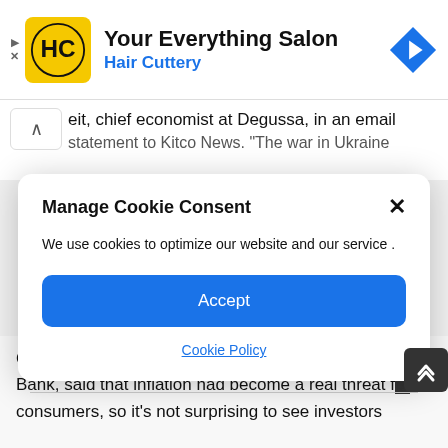[Figure (screenshot): Advertisement banner for Hair Cuttery 'Your Everything Salon' with yellow logo, brand name, and blue navigation arrow icon]
eit, chief economist at Degussa, in an email statement to Kitco News. "The war in Ukraine
Manage Cookie Consent
We use cookies to optimize our website and our service .
Accept
Cookie Policy
Ole Hansen, head of commodity strategy at Saxo Bank, said that inflation had become a real threat for consumers, so it's not surprising to see investors